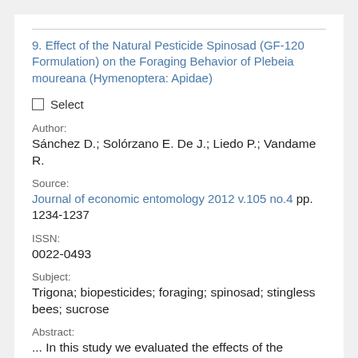9. Effect of the Natural Pesticide Spinosad (GF-120 Formulation) on the Foraging Behavior of Plebeia moureana (Hymenoptera: Apidae)
Select
Author:
Sánchez D.; Solórzano E. De J.; Liedo P.; Vandame R.
Source:
Journal of economic entomology 2012 v.105 no.4 pp. 1234-1237
ISSN:
0022-0493
Subject:
Trigona; biopesticides; foraging; spinosad; stingless bees; sucrose
Abstract:
... In this study we evaluated the effects of the biorational